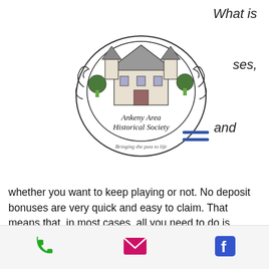What is
ses,
[Figure (logo): Ankeny Area Historical Society circular logo with building illustration and text 'Bringing the past to life']
[Figure (other): Hamburger menu icon — three horizontal blue lines]
and
whether you want to keep playing or not. No deposit bonuses are very quick and easy to claim. That means that, in most cases, all you need to do is simply sign up and you've get your hands on the bonus. Where else can you claim free cash without deposit required just for signing up, ball drop game casino.
Mandarin casino no deposit bonus 2022
Designer/producer/programmer credits
Phone | Email | Facebook